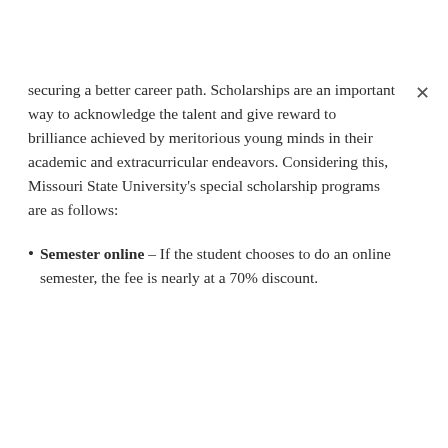securing a better career path. Scholarships are an important way to acknowledge the talent and give reward to brilliance achieved by meritorious young minds in their academic and extracurricular endeavors. Considering this, Missouri State University's special scholarship programs are as follows:
Semester online – If the student chooses to do an online semester, the fee is nearly at a 70% discount.